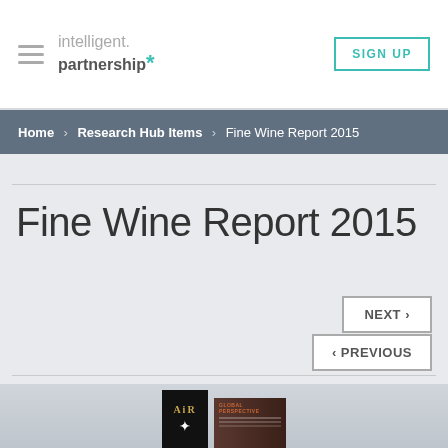intelligent. partnership* | SIGN UP
Home › Research Hub Items › Fine Wine Report 2015
Fine Wine Report 2015
NEXT ›
‹ PREVIOUS
[Figure (photo): Photo of AiR fine wine report booklets, one open showing 'Global Perspective' heading]